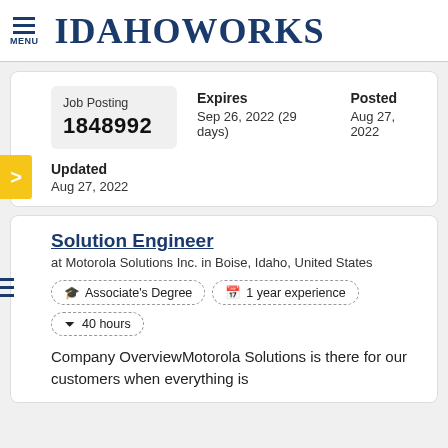MENU — IdahoWorks
Job Posting 1848992 — Expires: Sep 26, 2022 (29 days) — Posted: Aug 27, 2022 — Updated: Aug 27, 2022
Solution Engineer
at Motorola Solutions Inc. in Boise, Idaho, United States
Associate's Degree
1 year experience
40 hours
Company OverviewMotorola Solutions is there for our customers when everything is